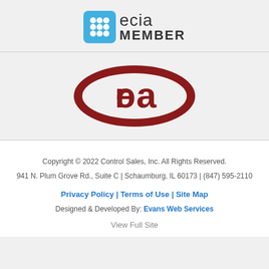[Figure (logo): ECIA Member logo with blue grid icon and 'ecia MEMBER' text]
[Figure (logo): ERA logo - red oval with stylized letters 'era']
Copyright © 2022 Control Sales, Inc. All Rights Reserved.
941 N. Plum Grove Rd., Suite C | Schaumburg, IL 60173 | (847) 595-2110
Privacy Policy | Terms of Use | Site Map
Designed & Developed By: Evans Web Services
View Full Site